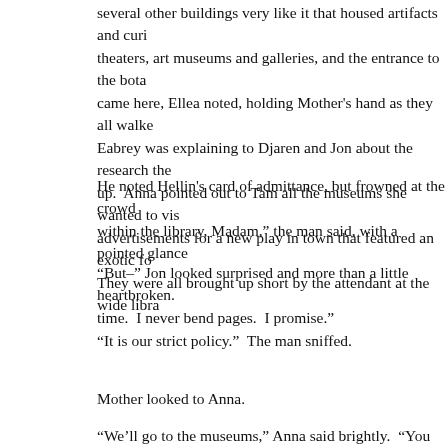several other buildings very like it that housed artifacts and curi theaters, art museums and galleries, and the entrance to the bota came here, Ellea noted, holding Mother’s hand as they all walke Eabrey was explaining to Djaren and Jon about the research the up.  Anna pointed out to Tam all the museums she wanted to vis advertisements for a new play in town that featured an exotic fo They were all brought up short by the attendant at the wide libra
He noted Hellin’s card of admittance, but frowned at the crowd within the library, Madam,” the man said, with a pointed glance
“But–” Jon looked surprised and more than a little heartbroken. time.  I never bend pages.  I promise.”
“It is our strict policy.”  The man sniffed.
Mother looked to Anna.
“We’ll go to the museums,” Anna said brightly.  “You and Ellea